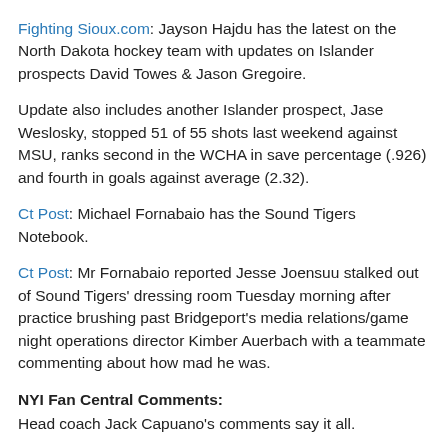Fighting Sioux.com: Jayson Hajdu has the latest on the North Dakota hockey team with updates on Islander prospects David Towes & Jason Gregoire.
Update also includes another Islander prospect, Jase Weslosky, stopped 51 of 55 shots last weekend against MSU, ranks second in the WCHA in save percentage (.926) and fourth in goals against average (2.32).
Ct Post: Michael Fornabaio has the Sound Tigers Notebook.
Ct Post: Mr Fornabaio reported Jesse Joensuu stalked out of Sound Tigers' dressing room Tuesday morning after practice brushing past Bridgeport's media relations/game night operations director Kimber Auerbach with a teammate commenting about how mad he was.
NYI Fan Central Comments: Head coach Jack Capuano's comments say it all.
Poughkeepsie Journal: Has a few words on Long Island